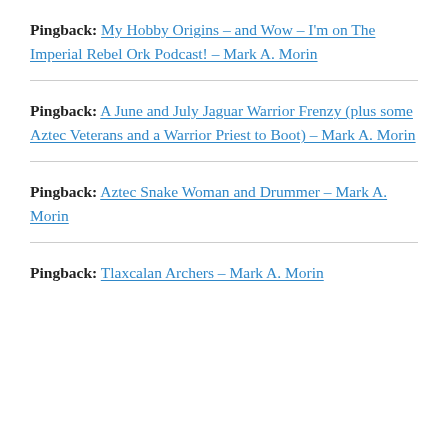Pingback: My Hobby Origins – and Wow – I'm on The Imperial Rebel Ork Podcast! – Mark A. Morin
Pingback: A June and July Jaguar Warrior Frenzy (plus some Aztec Veterans and a Warrior Priest to Boot) – Mark A. Morin
Pingback: Aztec Snake Woman and Drummer – Mark A. Morin
Pingback: Tlaxcalan Archers – Mark A. Morin